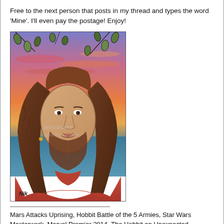Free to the next person that posts in my thread and types the word 'Mine'. I'll even pay the postage! Enjoy!
[Figure (illustration): A hand-drawn illustration of a heavyset man with long curly brown hair and a beard, depicted in a Renaissance-style portrait against a colorful sunset sky background with leaves. Signed 'Nik' at the bottom left. Photobucket watermark visible.]
Mars Attacks Uprising, Hobbit Battle of the 5 Armies, Star Wars Masterwork, Marvel Premier 2014, The Hobbit an Unexpected Journey, Guardians of the Galaxy, Mars Attacks Heritage, Marvel 70th Anniv', The